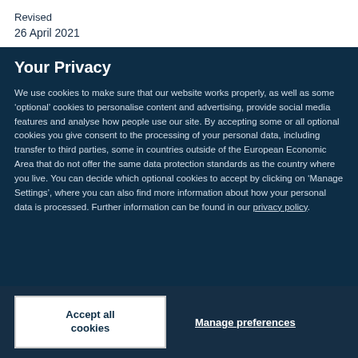Revised
26 April 2021
Your Privacy
We use cookies to make sure that our website works properly, as well as some ‘optional’ cookies to personalise content and advertising, provide social media features and analyse how people use our site. By accepting some or all optional cookies you give consent to the processing of your personal data, including transfer to third parties, some in countries outside of the European Economic Area that do not offer the same data protection standards as the country where you live. You can decide which optional cookies to accept by clicking on ‘Manage Settings’, where you can also find more information about how your personal data is processed. Further information can be found in our privacy policy.
Accept all cookies
Manage preferences